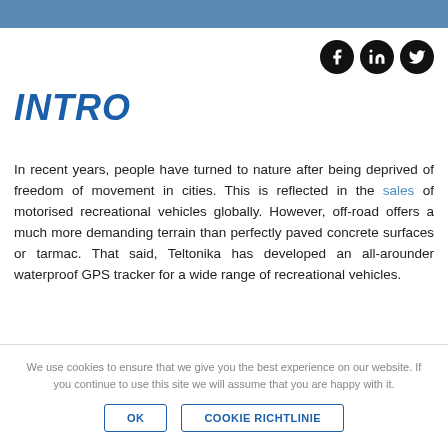INTRO
In recent years, people have turned to nature after being deprived of freedom of movement in cities. This is reflected in the sales of motorised recreational vehicles globally. However, off-road offers a much more demanding terrain than perfectly paved concrete surfaces or tarmac. That said, Teltonika has developed an all-arounder waterproof GPS tracker for a wide range of recreational vehicles.
We use cookies to ensure that we give you the best experience on our website. If you continue to use this site we will assume that you are happy with it.